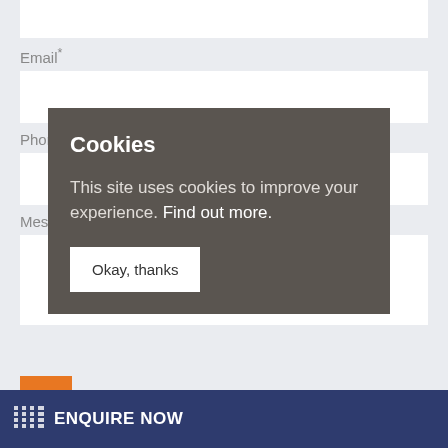Email*
Phone
Message
[Figure (screenshot): Cookie consent overlay banner with title 'Cookies', body text 'This site uses cookies to improve your experience. Find out more.', and an 'Okay, thanks' button.]
ENQUIRE NOW